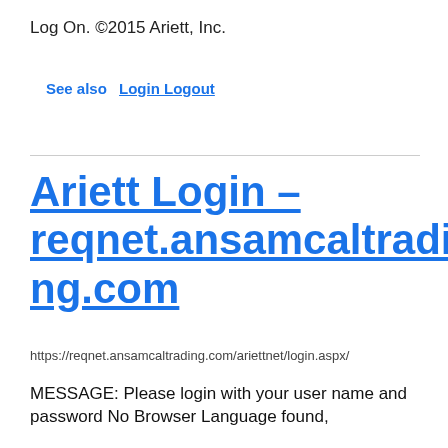Log On. ©2015 Ariett, Inc.
See also  Login Logout
Ariett Login – reqnet.ansamcaltrading.com
https://reqnet.ansamcaltrading.com/ariettnet/login.aspx/
MESSAGE: Please login with your user name and password No Browser Language found,